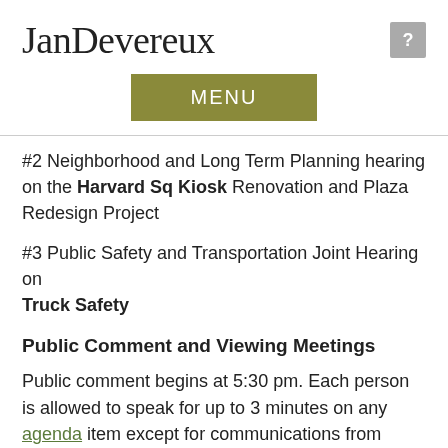JanDevereux
[Figure (other): MENU button in olive/dark yellow color]
#2 Neighborhood and Long Term Planning hearing on the Harvard Sq Kiosk Renovation and Plaza Redesign Project
#3 Public Safety and Transportation Joint Hearing on Truck Safety
Public Comment and Viewing Meetings
Public comment begins at 5:30 pm. Each person is allowed to speak for up to 3 minutes on any agenda item except for communications from other members of the public. There is an online system for signing up for public comment that goes live on the Friday morning before each Monday meeting. Here is the link. You also may call